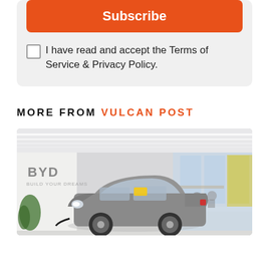Subscribe
I have read and accept the Terms of Service & Privacy Policy.
MORE FROM VULCAN POST
[Figure (photo): BYD car showroom interior with a grey SUV on display, BYD logo on the wall, people seated in the background, modern lighting and decor]